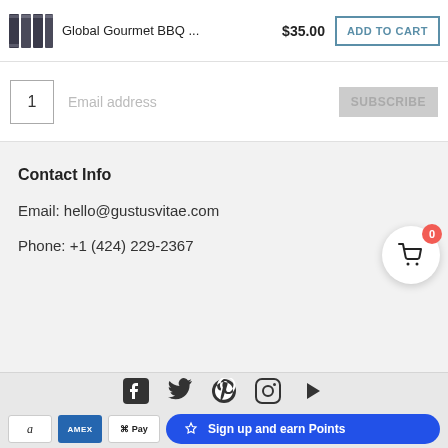[Figure (screenshot): Top sticky bar with product thumbnail (BBQ seasoning set), product name 'Global Gourmet BBQ ...', price '$35.00', and 'ADD TO CART' button]
[Figure (screenshot): Quantity input box showing '1' and email subscribe bar with placeholder 'Email address' and greyed-out 'SUBSCRIBE' button]
Contact Info
Email: hello@gustusvitae.com
Phone: +1 (424) 229-2367
[Figure (screenshot): Floating cart icon button with red badge showing '0' count]
[Figure (screenshot): Social media icons row: Facebook, Twitter, Pinterest, Instagram, YouTube]
[Figure (screenshot): Payment icons row: Amazon, Amex, Apple Pay, and 'Sign up and earn Points' blue button, plus PayPal, Shop Pay, Venmo, Visa]
Sign up and earn Points